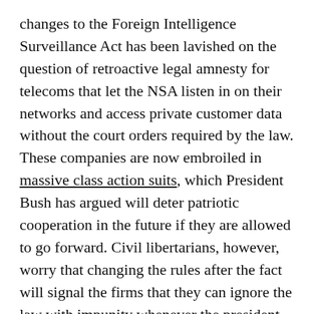changes to the Foreign Intelligence Surveillance Act has been lavished on the question of retroactive legal amnesty for telecoms that let the NSA listen in on their networks and access private customer data without the court orders required by the law. These companies are now embroiled in massive class action suits, which President Bush has argued will deter patriotic cooperation in the future if they are allowed to go forward. Civil libertarians, however, worry that changing the rules after the fact will signal the firms that they can ignore the law with impunity whenever the president gives a thumbs-up.
They needn't worry, according to Rep. Silvestre Reyes (D-TX). "In this bill, Congress does not grant immunity," Reyes declared on the House floor Friday. "Congress isn't deciding the question of